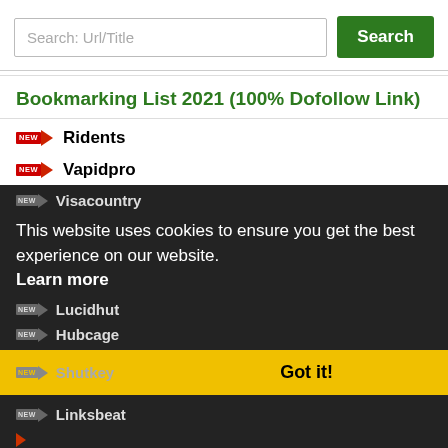[Figure (screenshot): Search bar with placeholder 'Search: Url/Title' and a green 'Search' button]
Bookmarking List 2021 (100% Dofollow Link)
Ridents
Vapidpro
Visacountry
Lucidhut
Hubcage
Shutkey
Linksbeat
This website uses cookies to ensure you get the best experience on our website.
Learn more
Got it!